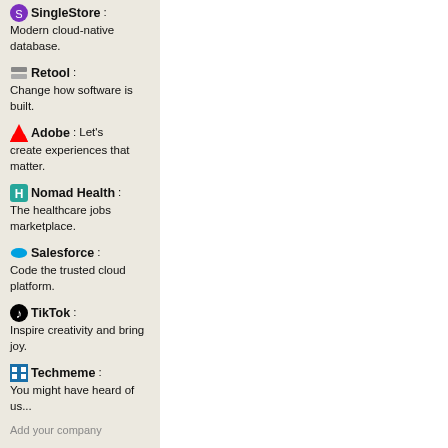SingleStore: Modern cloud-native database.
Retool: Change how software is built.
Adobe: Let's create experiences that matter.
Nomad Health: The healthcare jobs marketplace.
Salesforce: Code the trusted cloud platform.
TikTok: Inspire creativity and bring joy.
Techmeme: You might have heard of us...
Add your company